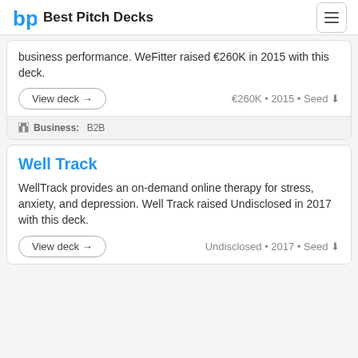Best Pitch Decks
business performance. WeFitter raised €260K in 2015 with this deck.
View deck → €260K • 2015 • Seed
Business: B2B
Well Track
WellTrack provides an on-demand online therapy for stress, anxiety, and depression. Well Track raised Undisclosed in 2017 with this deck.
View deck → Undisclosed • 2017 • Seed